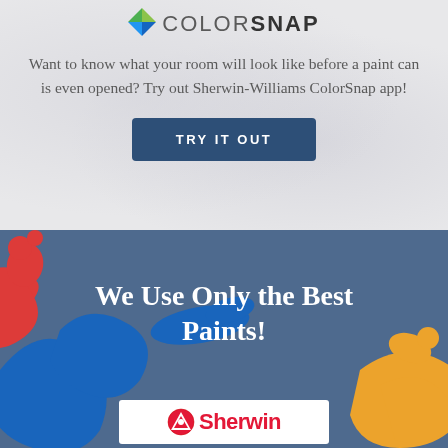[Figure (logo): ColorSnap logo with two-tone diamond/triangle icon and COLORSNAP text in uppercase]
Want to know what your room will look like before a paint can is even opened? Try out Sherwin-Williams ColorSnap app!
TRY IT OUT
[Figure (illustration): Blue background section with red, blue, and yellow paint splashes and text 'We Use Only the Best Paints!' overlaid. Sherwin-Williams logo banner partially visible at bottom.]